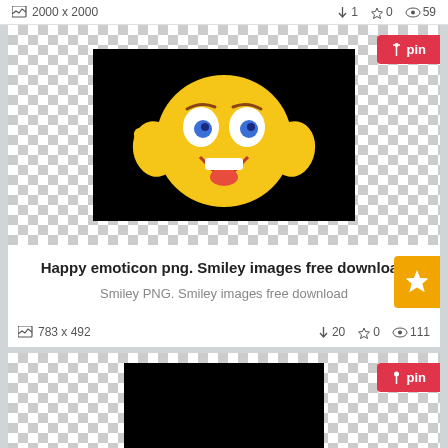2000 x 2000   ↓1  ☆0  👁59
[Figure (illustration): Happy emoticon / smiley face PNG image with thumbs up on black background]
Happy emoticon png. Smiley images free download
Smiley PNG. Smiley images free download
783 x 492   ↓20  ☆0  👁111
[Figure (photo): Black rectangle image placeholder on checkered background]